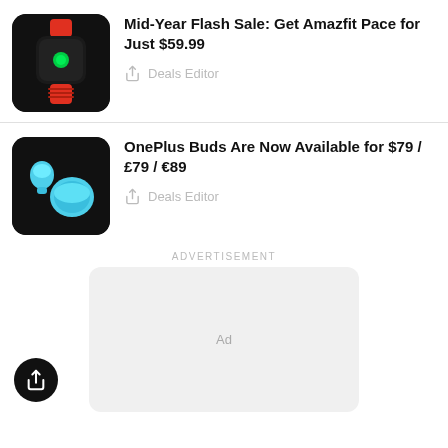[Figure (photo): Amazfit Pace smartwatch with red band on black background]
Mid-Year Flash Sale: Get Amazfit Pace for Just $59.99
Deals Editor
[Figure (photo): OnePlus Buds in teal/cyan color with charging case on black background]
OnePlus Buds Are Now Available for $79 / £79 / €89
Deals Editor
ADVERTISEMENT
Ad